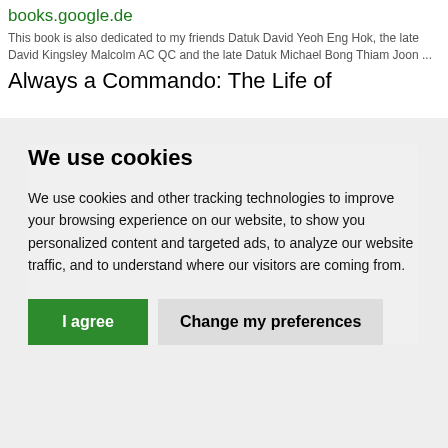books.google.de
This book is also dedicated to my friends Datuk David Yeoh Eng Hok, the late David Kingsley Malcolm AC QC and the late Datuk Michael Bong Thiam Joon ...
Always a Commando: The Life of
We use cookies
We use cookies and other tracking technologies to improve your browsing experience on our website, to show you personalized content and targeted ads, to analyze our website traffic, and to understand where our visitors are coming from.